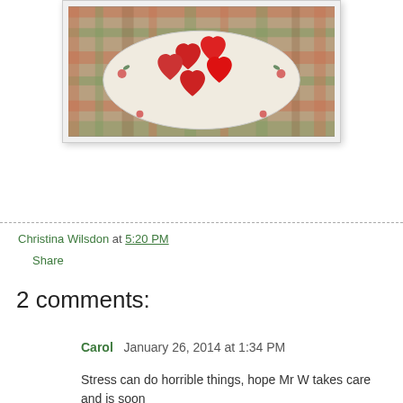[Figure (photo): Photo of red heart-shaped cookies on a decorative white plate with floral design, placed on a plaid tablecloth]
Christina Wilsdon at 5:20 PM
Share
2 comments:
Carol  January 26, 2014 at 1:34 PM
Stress can do horrible things, hope Mr W takes care and is soon